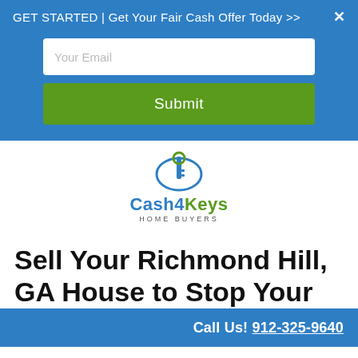GET STARTED | Get Your Fair Cash Offer Today >>
[Figure (screenshot): Email input field with placeholder text 'Your Email' and a green Submit button on a blue background banner]
[Figure (logo): Cash4Keys Home Buyers logo with a key icon and tagline HOME BUYERS]
Sell Your Richmond Hill, GA House to Stop Your Foreclosure
Call Us! 912-325-9640